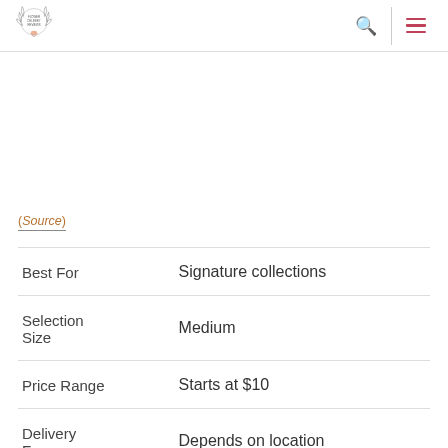Flower Delivery Reviews
(Source)
|  |  |
| --- | --- |
| Best For | Signature collections |
| Selection Size | Medium |
| Price Range | Starts at $10 |
| Delivery Fee | Depends on location |